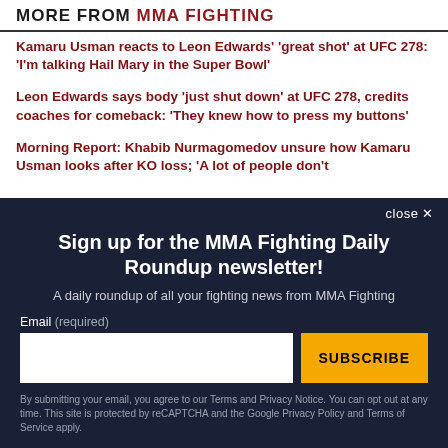MORE FROM MMA FIGHTING
Kamaru Usman reacts to Leon Edwards' 'great shot' at UFC 278: 'I'm talking Hail Mary in the Super Bowl'
Leon Edwards says body 'just shut down' at UFC 278, credits coaches for comeback: 'They knew how to press my buttons'
Morning Report: Khabib Nurmagomedov unsure how Kamaru Usman looks after KO loss; 'A lot of people don't
Sign up for the MMA Fighting Daily Roundup newsletter!
A daily roundup of all your fighting news from MMA Fighting
Email (required)
SUBSCRIBE
By submitting your email, you agree to our Terms and Privacy Notice. You can opt out at any time. This site is protected by reCAPTCHA and the Google Privacy Policy and Terms of Service apply.